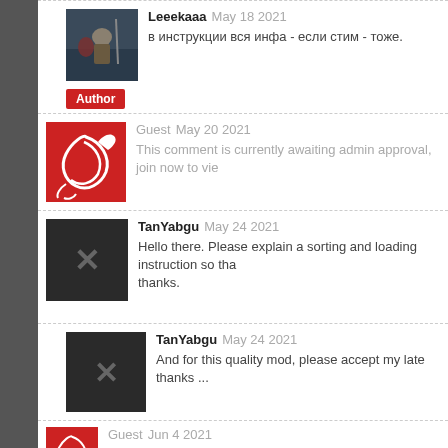Leeekaaa May 18 2021
в инструкции вся инфа - если стим - тоже.
[Author]
Guest May 20 2021
This comment is currently awaiting admin approval, join now to vie
TanYabgu May 24 2021
Hello there. Please explain a sorting and loading instruction so tha thanks.
TanYabgu May 24 2021
And for this quality mod, please accept my late thanks ...
Guest Jun 4 2021